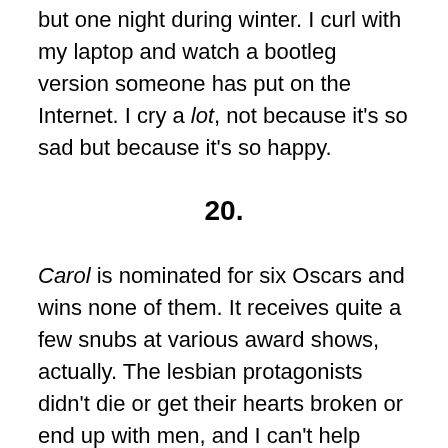but one night during winter. I curl with my laptop and watch a bootleg version someone has put on the Internet. I cry a lot, not because it's so sad but because it's so happy.
20.
Carol is nominated for six Oscars and wins none of them. It receives quite a few snubs at various award shows, actually. The lesbian protagonists didn't die or get their hearts broken or end up with men, and I can't help thinking that this is the reason why it was ignored: It didn't follow the narrative we've come to expect. The lesbian/bi websites I follow lavish praise on it. Straight male critics say that it's boring and uneventful. I wonder if death counts as an event.